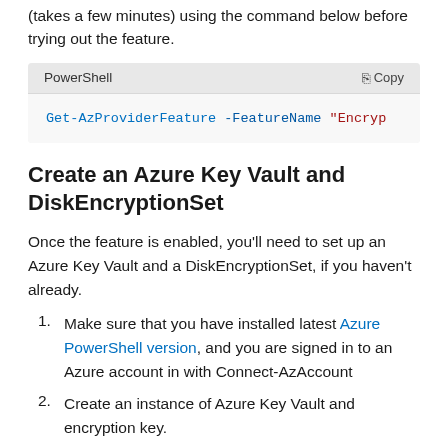(takes a few minutes) using the command below before trying out the feature.
[Figure (screenshot): PowerShell code block with header showing 'PowerShell' label and 'Copy' button. Code line: Get-AzProviderFeature -FeatureName "Encryp (truncated)"]
Create an Azure Key Vault and DiskEncryptionSet
Once the feature is enabled, you'll need to set up an Azure Key Vault and a DiskEncryptionSet, if you haven't already.
Make sure that you have installed latest Azure PowerShell version, and you are signed in to an Azure account in with Connect-AzAccount
Create an instance of Azure Key Vault and encryption key.